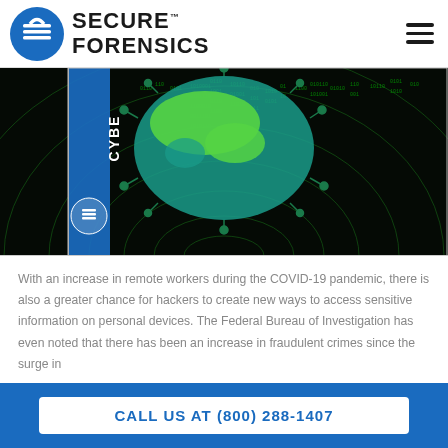SECURE FORENSICS
[Figure (illustration): Cybersecurity themed image showing a digital globe/earth wrapped in matrix-style green binary code streams, with virus/COVID-like spikes overlay. Left side has a blue sidebar with text 'CYBE' visible and a shield/lock icon.]
With an increase in remote workers during the COVID-19 pandemic, there is also a greater chance for hackers to create new ways to access sensitive information on personal devices. The Federal Bureau of Investigation has even noted that there has been an increase in fraudulent crimes since the surge in
CALL US AT (800) 288-1407